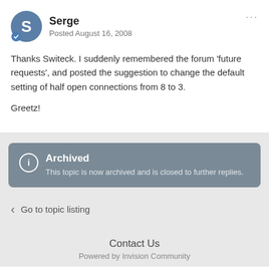Serge
Posted August 16, 2008
Thanks Switeck. I suddenly remembered the forum 'future requests', and posted the suggestion to change the default setting of half open connections from 8 to 3.

Greetz!
Archived
This topic is now archived and is closed to further replies.
Go to topic listing
Contact Us
Powered by Invision Community